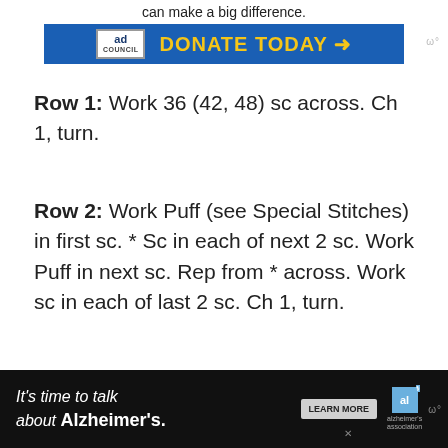[Figure (other): Ad Council donate today advertisement banner with blue background and yellow text]
Row 1: Work 36 (42, 48) sc across. Ch 1, turn.
Row 2: Work Puff (see Special Stitches) in first sc. * Sc in each of next 2 sc. Work Puff in next sc. Rep from * across. Work sc in each of last 2 sc. Ch 1, turn.
[Figure (other): Alzheimer's Association advertisement banner on dark background with learn more button]